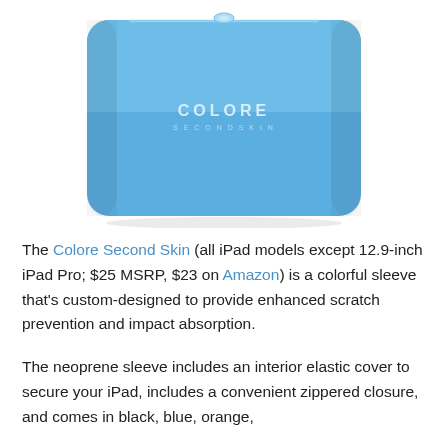[Figure (photo): A blue neoprene tablet sleeve (Colore Second Skin) shown from the front. The sleeve is a rounded rectangle shape in medium blue with a zipper along the top edge and white 'COLORE' branding text in the center.]
The Colore Second Skin (all iPad models except 12.9-inch iPad Pro; $25 MSRP, $23 on Amazon) is a colorful sleeve that's custom-designed to provide enhanced scratch prevention and impact absorption.
The neoprene sleeve includes an interior elastic cover to secure your iPad, includes a convenient zippered closure, and comes in black, blue, orange,